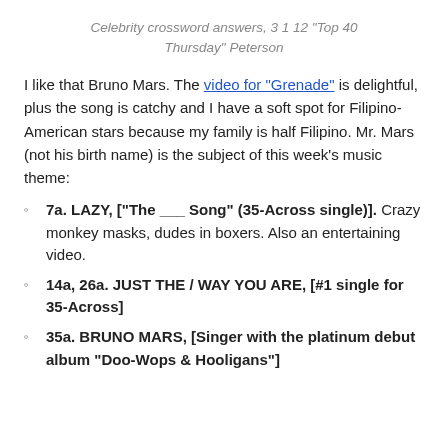Celebrity crossword answers, 3 1 12 "Top 40 Thursday" Peterson
I like that Bruno Mars. The video for “Grenade” is delightful, plus the song is catchy and I have a soft spot for Filipino-American stars because my family is half Filipino. Mr. Mars (not his birth name) is the subject of this week’s music theme:
7a. LAZY, [“The ___ Song” (35-Across single)]. Crazy monkey masks, dudes in boxers. Also an entertaining video.
14a, 26a. JUST THE / WAY YOU ARE, [#1 single for 35-Across]
35a. BRUNO MARS, [Singer with the platinum debut album “Doo-Wops & Hooligans”]